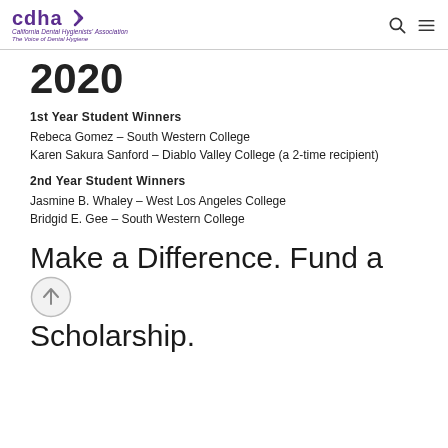cdha California Dental Hygienists' Association The Voice of Dental Hygiene
2020
1st Year Student Winners
Rebeca Gomez – South Western College
Karen Sakura Sanford – Diablo Valley College (a 2-time recipient)
2nd Year Student Winners
Jasmine B. Whaley – West Los Angeles College
Bridgid E. Gee – South Western College
Make a Difference. Fund a Scholarship.